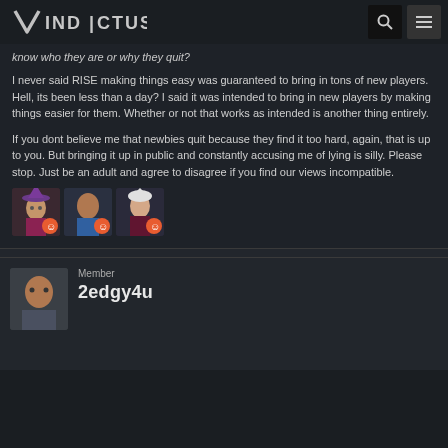VINDICTUS
know who they are or why they quit?
I never said RISE making things easy was guaranteed to bring in tons of new players. Hell, its been less than a day? I said it was intended to bring in new players by making things easier for them. Whether or not that works as intended is another thing entirely.
If you dont believe me that newbies quit because they find it too hard, again, that is up to you. But bringing it up in public and constantly accusing me of lying is silly. Please stop. Just be an adult and agree to disagree if you find our views incompatible.
[Figure (illustration): Three game character avatar thumbnails side by side]
Member
2edgy4u